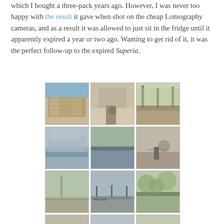which I bought a three-pack years ago. However, I was never too happy with the result it gave when shot on the cheap Lomography cameras, and as a result it was allowed to just sit in the fridge until it apparently expired a year or two ago. Wanting to get rid of it, it was the perfect follow-up to the expired Superia.
[Figure (photo): 3x3 grid of film photographs showing outdoor urban scenes in Paris — buildings, canals, streets, parks, people — shot on expired film stock with warm tones]